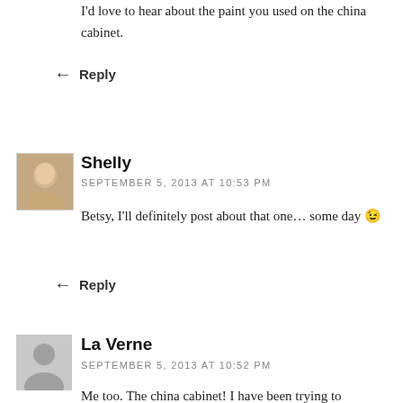I'd love to hear about the paint you used on the china cabinet.
Reply
Shelly
SEPTEMBER 5, 2013 AT 10:53 PM
Betsy, I'll definitely post about that one… some day 😉
Reply
La Verne
SEPTEMBER 5, 2013 AT 10:52 PM
Me too. The china cabinet! I have been trying to